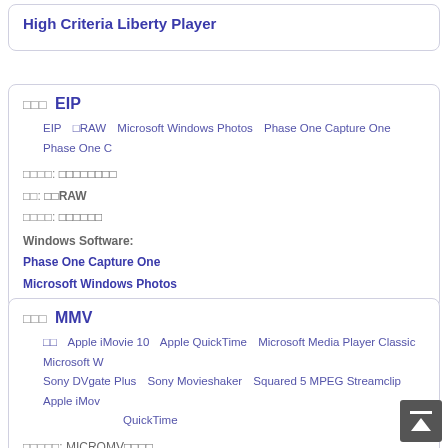High Criteria Liberty Player
□□□ EIP
EIP  □RAW  Microsoft Windows Photos  Phase One Capture One  Phase One C
□□□□: □□□□□□□□
□□: □□RAW
□□□□: □□□□□□
Windows Software:
Phase One Capture One
Microsoft Windows Photos
□□□ MMV
□□  Apple iMovie 10  Apple QuickTime  Microsoft Media Player Classic  Microsoft W  Sony DVgate Plus  Sony Movieshaker  Squared 5 MPEG Streamclip  Apple iMov  QuickTime
□□□□□: MICROMV□□□□
□□: □□